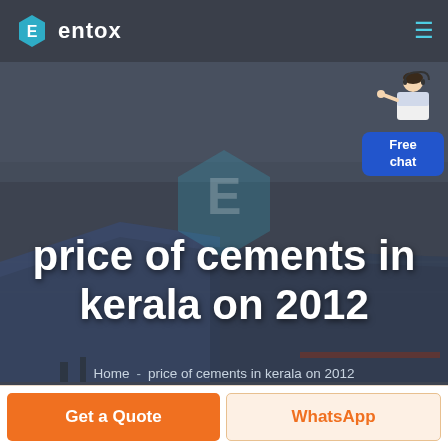entox
[Figure (screenshot): Hero banner showing aerial view of an industrial/factory complex with blue rooftop buildings, overlaid with a semi-transparent dark layer. An 'E' hexagon watermark logo is centered. A chat widget (person figure + blue 'Free chat' box) appears in the top right.]
price of cements in kerala on 2012
Home  -  price of cements in kerala on 2012
Get a Quote
WhatsApp